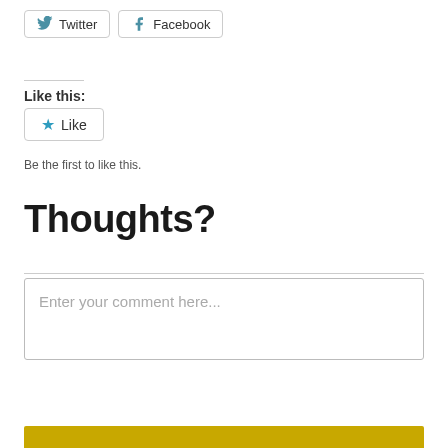[Figure (other): Twitter and Facebook social sharing buttons]
Like this:
[Figure (other): Like button with star icon]
Be the first to like this.
Thoughts?
[Figure (other): Comment text area with placeholder: Enter your comment here...]
[Figure (other): Gold/yellow bar at bottom of page]